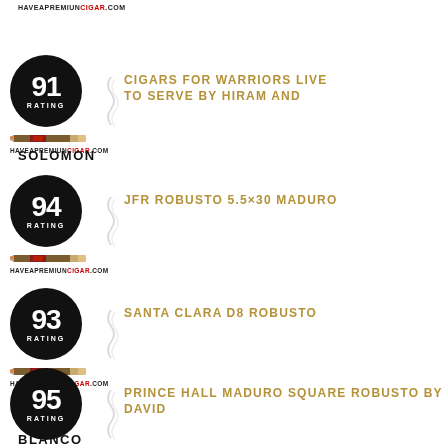HAVEAPREMIUMCIGAR.COM
CIGARS FOR WARRIORS LIVE TO SERVE BY HIRAM AND SOLOMON
JFR ROBUSTO 5.5×30 MADURO
SANTA CLARA D8 ROBUSTO
PRINCE HALL MADURO SQUARE ROBUSTO BY DAVID BLANCO